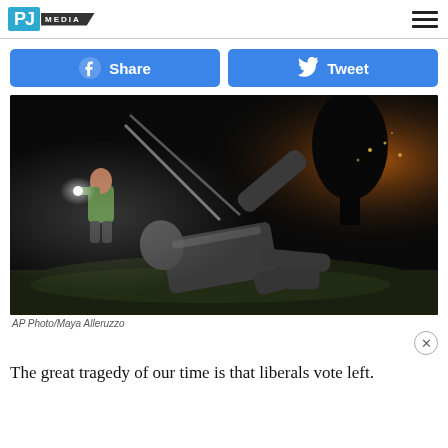PJ MEDIA
[Figure (photo): Nighttime photo of a toppled statue lying on grass, with ropes attached, a person in yellow vest holding a light standing nearby, orange city lights in the background]
AP Photo/Maya Alleruzzo
The great tragedy of our time is that liberals vote left.